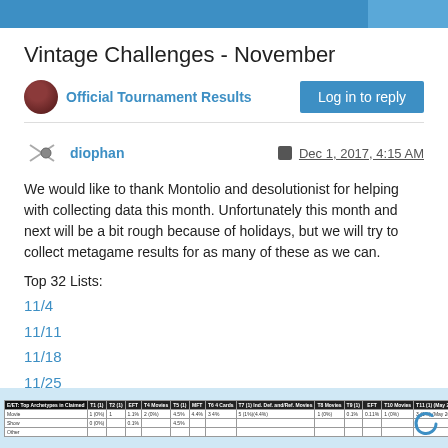Vintage Challenges - November
Official Tournament Results
Log in to reply
diophan   Dec 1, 2017, 4:15 AM
We would like to thank Montolio and desolutionist for helping with collecting data this month. Unfortunately this month and next will be a bit rough because of holidays, but we will try to collect metagame results for as many of these as we can.
Top 32 Lists:
11/4
11/11
11/18
11/25